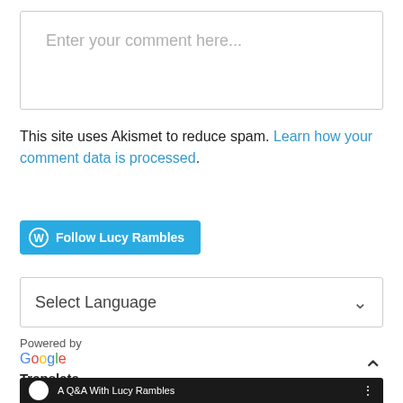[Figure (screenshot): Comment input text box with placeholder text 'Enter your comment here...']
This site uses Akismet to reduce spam. Learn how your comment data is processed.
[Figure (other): Follow Lucy Rambles button with WordPress icon, teal/blue background]
[Figure (screenshot): Select Language dropdown widget]
Powered by
[Figure (logo): Google logo (multicolor text)]
Translate
[Figure (screenshot): A Q&A With Lucy Rambles video thumbnail strip at bottom]